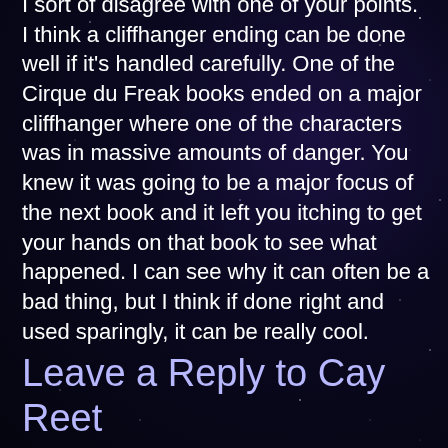I sort of disagree with one of your points. I think a cliffhanger ending can be done well if it's handled carefully. One of the Cirque du Freak books ended on a major cliffhanger where one of the characters was in massive amounts of danger. You knew it was going to be a major focus of the next book and it left you itching to get your hands on that book to see what happened. I can see why it can often be a bad thing, but I think if done right and used sparingly, it can be really cool.
Reply
Leave a Reply to Cay Reet